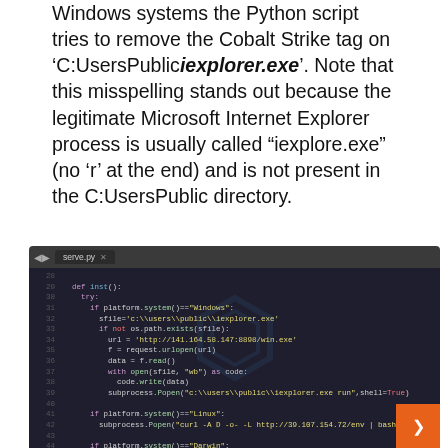Windows systems the Python script tries to remove the Cobalt Strike tag on 'C:UsersPubliciexplorer.exe'. Note that this misspelling stands out because the legitimate Microsoft Internet Explorer process is usually called "iexplore.exe" (no 'r' at the end) and is not present in the C:UsersPublic directory.
[Figure (screenshot): Code editor screenshot showing Python script (serve.py) with code for cross-platform malware dropper. Lines 29-55 visible, showing platform checks for Windows, Linux, Darwin, downloading and executing payloads. Dark theme editor.]